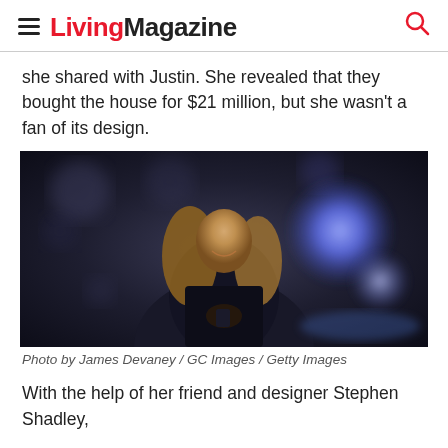LivingMagazine
she shared with Justin. She revealed that they bought the house for $21 million, but she wasn't a fan of its design.
[Figure (photo): Woman with long blonde hair wearing a black outfit, smiling, standing outdoors at night with blue/purple bokeh lights behind her.]
Photo by James Devaney / GC Images / Getty Images
With the help of her friend and designer Stephen Shadley,